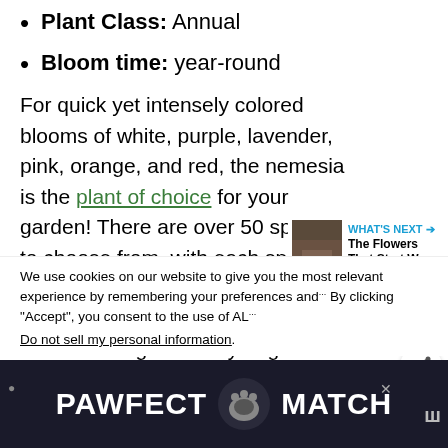Plant Class: Annual
Bloom time: year-round
For quick yet intensely colored blooms of white, purple, lavender, pink, orange, and red, the nemesia is the plant of choice for your garden! There are over 50 species to choose from, with each species having their color shades and patterns. Also, Nemesias are undemanding and easy to grow!
We use cookies on our website to give you the most relevant experience by remembering your preferences and... By clicking “Accept”, you consent to the use of AL...
Do not sell my personal information.
[Figure (screenshot): PAWFECT MATCH advertisement banner with cat illustration]
[Figure (other): WHAT'S NEXT: The Flowers That Start W... promotional box with thumbnail image]